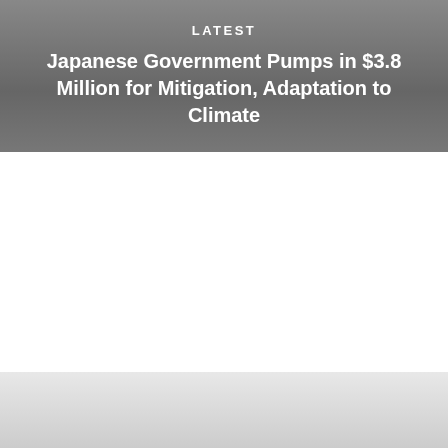LATEST
Japanese Government Pumps in $3.8 Million for Mitigation, Adaptation to Climate